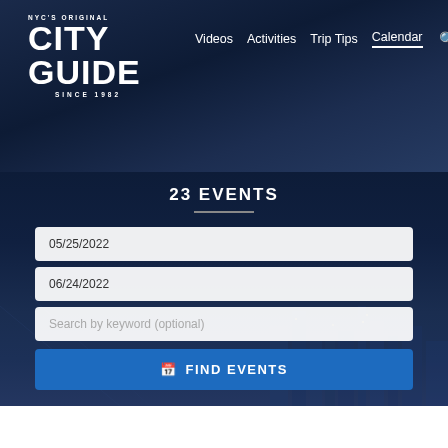[Figure (logo): NYC's Original City Guide Since 1982 logo in white on dark blue background]
Videos  Activities  Trip Tips  Calendar
23 EVENTS
05/25/2022
06/24/2022
Search by keyword (optional)
FIND EVENTS